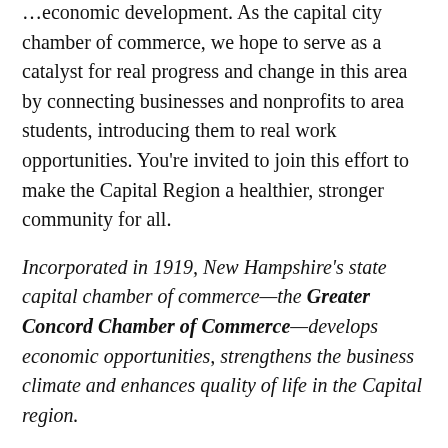… economic development. As the capital city chamber of commerce, we hope to serve as a catalyst for real progress and change in this area by connecting businesses and nonprofits to area students, introducing them to real work opportunities. You're invited to join this effort to make the Capital Region a healthier, stronger community for all.
Incorporated in 1919, New Hampshire's state capital chamber of commerce—the Greater Concord Chamber of Commerce—develops economic opportunities, strengthens the business climate and enhances quality of life in the Capital region.
Back To Our Blog